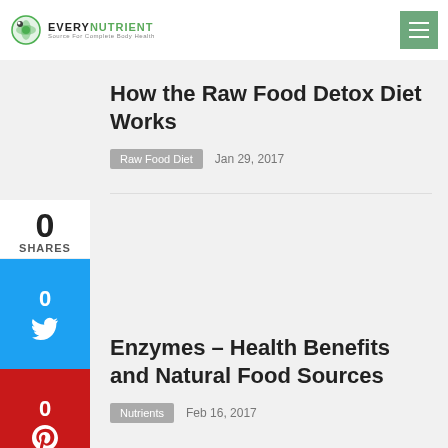EVERY NUTRIENT — Source For Complete Body Health
How the Raw Food Detox Diet Works
Raw Food Diet   Jan 29, 2017
Enzymes – Health Benefits and Natural Food Sources
Nutrients   Feb 16, 2017